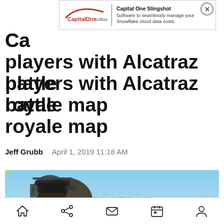[Figure (screenshot): Capital One Software advertisement banner with logo, divider, and text about Capital One Slingshot software]
Call of Duty Mobile surprises players with Alcatraz battle royale map
Jeff Grubb   April 1, 2019 11:18 AM
[Figure (photo): Operation Grand Heist promotional image showing vehicles, helicopter, and logo text in orange/gold on a desert/battlefield scene]
[Figure (screenshot): Mobile app bottom navigation bar with home, share, mail, calendar, and profile icons]